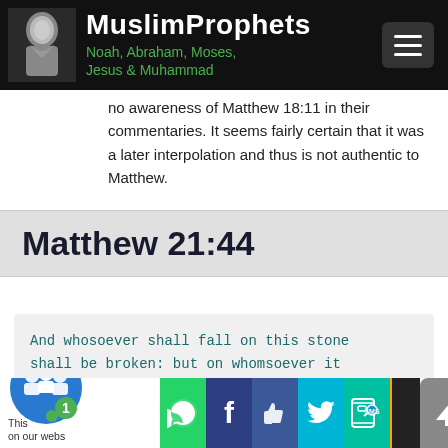MuslimProphets — Noah, Abraham, Moses, Jesus & Muhammad
no awareness of Matthew 18:11 in their commentaries. It seems fairly certain that it was a later interpolation and thus is not authentic to Matthew.
Matthew 21:44
And whosoever shall fall on this stone shall be broken: but on whomsoever it shall fall, it will grind him to powder
MATTHEW 21:44
This on our webs... [social share bar with WhatsApp, Facebook, Like, Twitter, SMS icons]